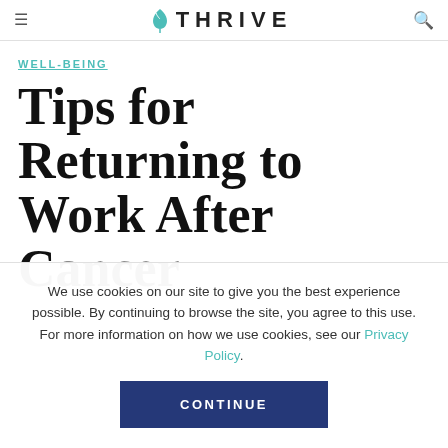THRIVE
WELL-BEING
Tips for Returning to Work After Cancer
We use cookies on our site to give you the best experience possible. By continuing to browse the site, you agree to this use. For more information on how we use cookies, see our Privacy Policy.
CONTINUE